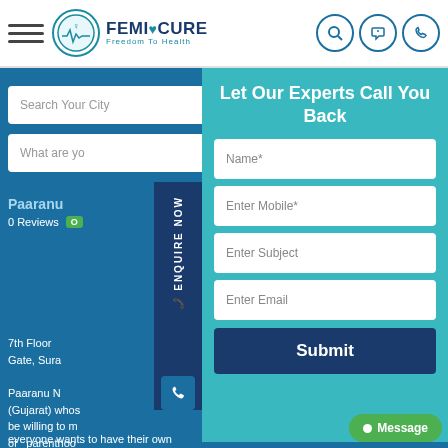[Figure (screenshot): FemiCure website header with logo, hamburger menu, and icons]
Search Your City
What are you looking for
Paaranu
0 Reviews
7th Floor, Gate, Sura
Paaranu (Gujarat) whose be willing to of parenthoo
Let Our Experts Call You Back
Name*
Enter Mobile*
Enter Subject
Enter Email
Submit
ENQUIRE NOW
Message
everyone wants to have their own families